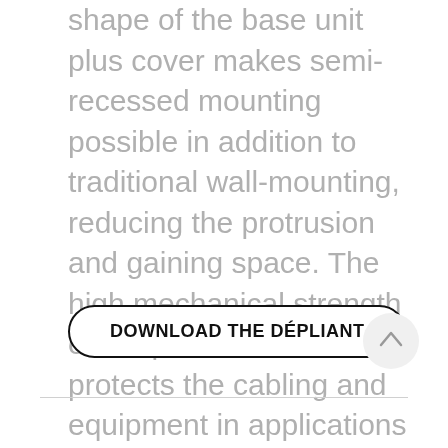shape of the base unit plus cover makes semi-recessed mounting possible in addition to traditional wall-mounting, reducing the protrusion and gaining space. The high mechanical strength of the plastic materials protects the cabling and equipment in applications in the service and industrial sectors, outdoor applications, in the same way as in traditional wiring applications.
DOWNLOAD THE DÉPLIANT
[Figure (other): Circular scroll-to-top button with upward arrow icon]